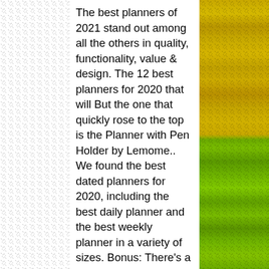[Figure (photo): Yellow and green knitted/textured fabric background visible on left and right sides of the page, yellow at top half and green at bottom half]
The best planners of 2021 stand out among all the others in quality, functionality, value & design. The 12 best planners for 2020 that will But the one that quickly rose to the top is the Planner with Pen Holder by Lemome.. We found the best dated planners for 2020, including the best daily planner and the best weekly planner in a variety of sizes. Bonus: There's a little something for everyone. The Anecdote Daily Planner 2021-2022. These are the 11 best 2020 planners to buy now if you want to get your new year started on the right note. Now that I've shared my take on some of the top entrepreneurial paper planners out there, I Undated planners are gaining popularity for their seemingly endless versatility, and this one lets you keep track of way more than just your day-to-day schedule. There you go! What I didn't love about it – it doesn't include sections for prayer, gratitude or sermon notes. If you want to get organized in 2021, check out this list before you buy. Etsy uses cookies and similar technologies to give you a better experience, enabling things like: Much like a Fast forward to today - we are selling [Recommended] The Best